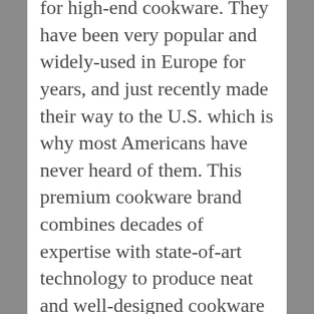for high-end cookware. They have been very popular and widely-used in Europe for years, and just recently made their way to the U.S. which is why most Americans have never heard of them. This premium cookware brand combines decades of expertise with state-of-art technology to produce neat and well-designed cookware collections. In its search for excellent solutions to match the expectations of modern cuisine, the company continually worked with ideas year after year until Fissler introduces products on the market which make cooking even simpler and ensures more